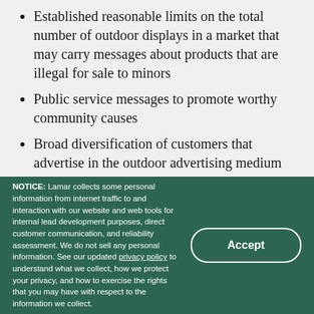Established reasonable limits on the total number of outdoor displays in a market that may carry messages about products that are illegal for sale to minors
Public service messages to promote worthy community causes
Broad diversification of customers that advertise in the outdoor advertising medium
The right to reject advertising that is
NOTICE: Lamar collects some personal information from internet traffic to and interaction with our website and web tools for internal lead development purposes, direct customer communication, and reliability assessment. We do not sell any personal information. See our updated privacy policy to understand what we collect, how we protect your privacy, and how to exercise the rights that you may have with respect to the information we collect.